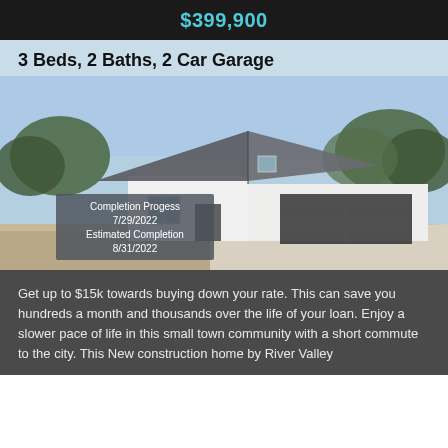$399,900
3 Beds, 2 Baths, 2 Car Garage
[Figure (photo): Exterior photo of a new construction single-story white home with a dark roof and 2-car garage. Overlaid text box reads: Completion Progess 7/29/2022 Estimated Completion 8/31/2022]
Get up to $15k towards buying down your rate. This can save you hundreds a month and thousands over the life of your loan. Enjoy a slower pace of life in this small town community with a short commute to the city. This New construction home by River Valley